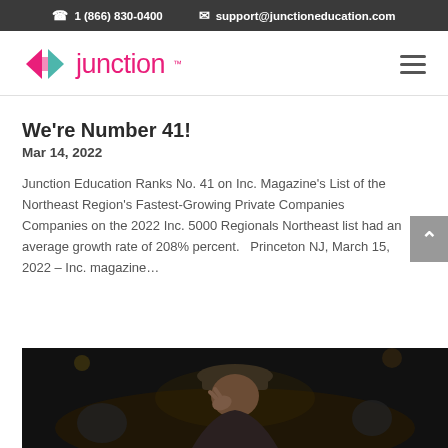1 (866) 830-0400   support@junctioneducation.com
[Figure (logo): Junction Education logo with geometric icon and pink 'junction' text with TM mark, plus hamburger menu icon]
We're Number 41!
Mar 14, 2022
Junction Education Ranks No. 41 on Inc. Magazine's List of the Northeast Region's Fastest-Growing Private Companies Companies on the 2022 Inc. 5000 Regionals Northeast list had an average growth rate of 208% percent.   Princeton NJ, March 15, 2022 – Inc. magazine...
[Figure (photo): Dark photo showing a person wearing a hat, looking down with hands near face, concert or performance setting]